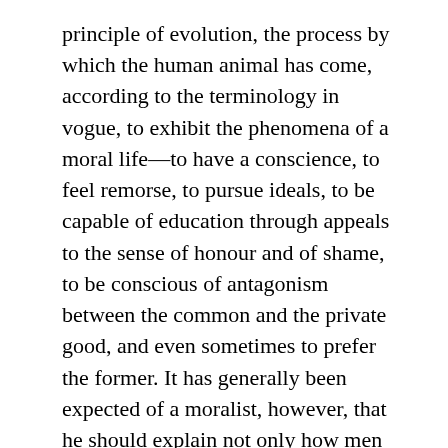principle of evolution, the process by which the human animal has come, according to the terminology in vogue, to exhibit the phenomena of a moral life—to have a conscience, to feel remorse, to pursue ideals, to be capable of education through appeals to the sense of honour and of shame, to be conscious of antagonism between the common and the private good, and even sometimes to prefer the former. It has generally been expected of a moralist, however, that he should explain not only how men do act, but how they should act: and as a matter of fact we find that those who regard the process of man's natural development most strictly